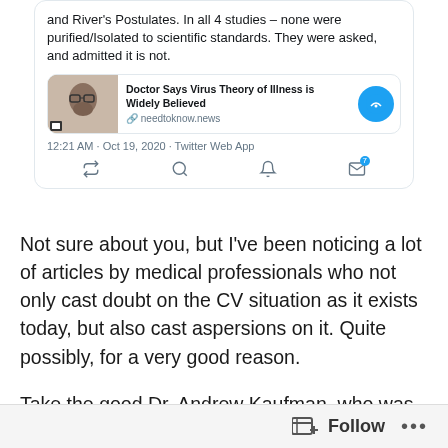[Figure (screenshot): Partial screenshot of a tweet showing text about virus studies and River's Postulates, with an embedded news article card from needtoknow.news titled 'Doctor Says Virus Theory of Illness is Widely Believed', timestamped 12:21 AM Oct 19, 2020 via Twitter Web App, with action icons below.]
Not sure about you, but I've been noticing a lot of articles by medical professionals who not only cast doubt on the CV situation as it exists today, but also cast aspersions on it. Quite possibly, for a very good reason.
Take the good Dr. Andrew Kaufman, who was recently interviewed by Del Bigtree, host of the popular HighWire alternative-health news show.
Follow ···